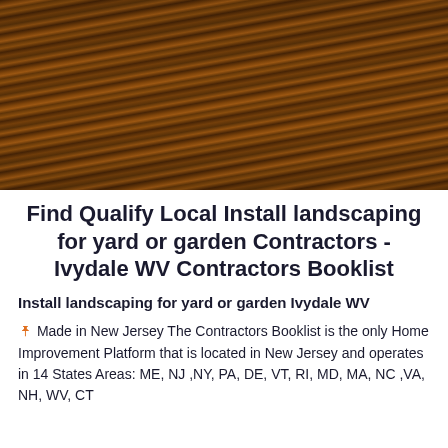[Figure (photo): Close-up photo of wooden planks or siding with a dark brown wood grain texture, photographed at an angle.]
Find Qualify Local Install landscaping for yard or garden Contractors - Ivydale WV Contractors Booklist
Install landscaping for yard or garden Ivydale WV
🖈 Made in New Jersey The Contractors Booklist is the only Home Improvement Platform that is located in New Jersey and operates in 14 States Areas: ME, NJ ,NY, PA, DE, VT, RI, MD, MA, NC ,VA, NH, WV, CT